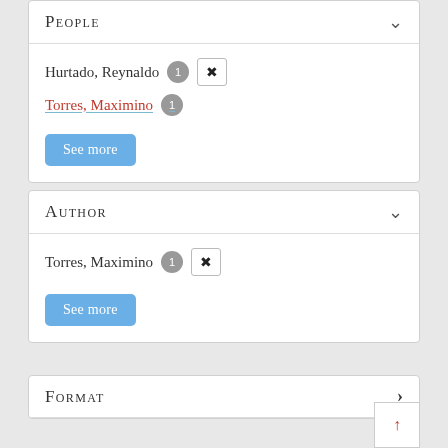People
Hurtado, Reynaldo 1 [x]
Torres, Maximino 1
See more
Author
Torres, Maximino 1 [x]
See more
Format